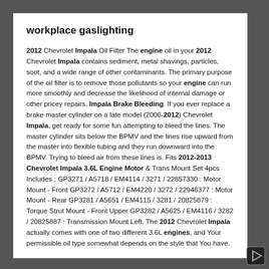workplace gaslighting
2012 Chevrolet Impala Oil Filter The engine oil in your 2012 Chevrolet Impala contains sediment, metal shavings, particles, soot, and a wide range of other contaminants. The primary purpose of the oil filter is to remove those pollutants so your engine can run more smoothly and decrease the likelihood of internal damage or other pricey repairs. Impala Brake Bleeding. If you ever replace a brake master cylinder on a late model (2006-2012) Chevrolet Impala, get ready for some fun attempting to bleed the lines. The master cylinder sits below the BPMV and the lines rise upward from the master into flexible tubing and they run downward into the BPMV. Trying to bleed air from these lines is. Fits 2012-2013 Chevrolet Impala 3.6L Engine Motor & Trans Mount Set 4pcs Includes : GP3271 / A5718 / EM4114 / 3271 / 22857330 : Motor Mount - Front GP3272 / A5712 / EM4220 / 3272 / 22946377 : Motor Mount - Rear GP3281 / A5651 / EM4115 / 3281 / 20825879 : Torque Strut Mount - Front Upper GP3282 / A5625 / EM4116 / 3282 / 20825887 : Transmission Mount Left. The 2012 Chevrolet Impala actually comes with one of two different 3.6L engines, and Your permissible oil type somewhat depends on the style that You have.
rajakumara kannada movie download jio rockers
The 2012 Impala ditches the tried-and-true pushrod V-6 powertrains — the 3.5-